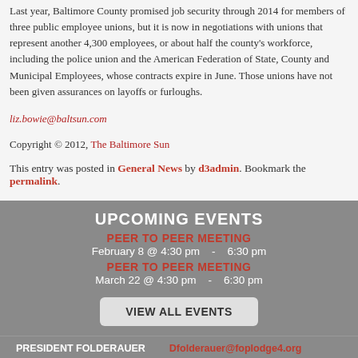Last year, Baltimore County promised job security through 2014 for members of three public employee unions, but it is now in negotiations with unions that represent another 4,300 employees, or about half the county's workforce, including the police union and the American Federation of State, County and Municipal Employees, whose contracts expire in June. Those unions have not been given assurances on layoffs or furloughs.
liz.bowie@baltsun.com
Copyright © 2012, The Baltimore Sun
This entry was posted in General News by d3admin. Bookmark the permalink.
UPCOMING EVENTS
PEER TO PEER MEETING
February 8 @ 4:30 pm  -  6:30 pm
PEER TO PEER MEETING
March 22 @ 4:30 pm  -  6:30 pm
VIEW ALL EVENTS
PRESIDENT FOLDERAUER   Dfolderauer@foplodge4.org